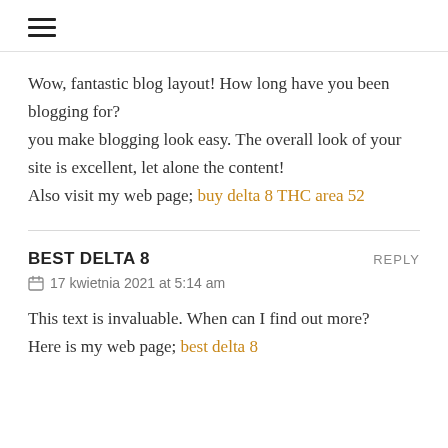☰ (hamburger menu icon)
Wow, fantastic blog layout! How long have you been blogging for?
you make blogging look easy. The overall look of your site is excellent, let alone the content!
Also visit my web page; buy delta 8 THC area 52
BEST DELTA 8   REPLY
📅 17 kwietnia 2021 at 5:14 am
This text is invaluable. When can I find out more?
Here is my web page; best delta 8